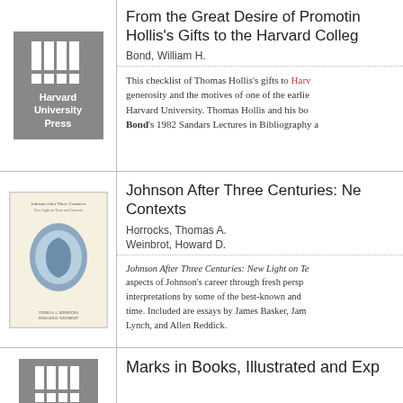[Figure (logo): Harvard University Press logo: grey square with white grid bars and text 'Harvard University Press']
From the Great Desire of Promoting Hollis's Gifts to the Harvard College
Bond, William H.
This checklist of Thomas Hollis's gifts to Harvard illuminates the generosity and the motives of one of the earliest major benefactors of Harvard University. Thomas Hollis and his books... Bond's 1982 Sandars Lectures in Bibliography a...
[Figure (illustration): Book cover of 'Johnson After Three Centuries: New Light on Texts and Contexts' showing a blue oval medallion with a profile portrait on a cream background]
Johnson After Three Centuries: New Light on Texts and Contexts
Horrocks, Thomas A.
Weinbrot, Howard D.
Johnson After Three Centuries: New Light on Te... aspects of Johnson's career through fresh persp... interpretations by some of the best-known and... time. Included are essays by James Basker, Jam... Lynch, and Allen Reddick.
[Figure (logo): Harvard University Press small logo at bottom left]